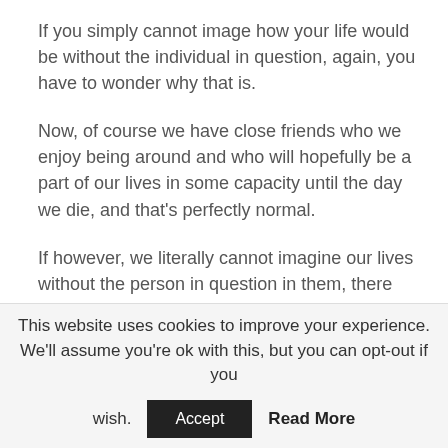If you simply cannot image how your life would be without the individual in question, again, you have to wonder why that is.
Now, of course we have close friends who we enjoy being around and who will hopefully be a part of our lives in some capacity until the day we die, and that's perfectly normal.
If however, we literally cannot imagine our lives without the person in question in them, there are obviously some deep-rooted feelings there that go above and beyond those normally associated with friendship alone.
This website uses cookies to improve your experience. We'll assume you're ok with this, but you can opt-out if you wish. Accept Read More